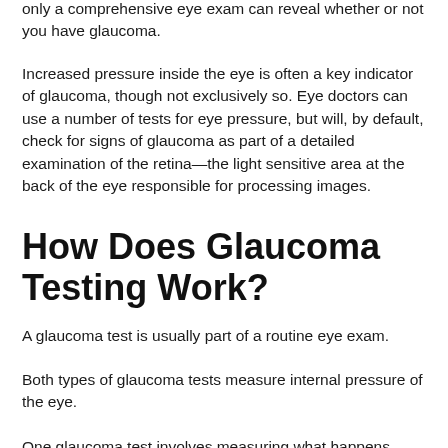only a comprehensive eye exam can reveal whether or not you have glaucoma.
Increased pressure inside the eye is often a key indicator of glaucoma, though not exclusively so. Eye doctors can use a number of tests for eye pressure, but will, by default, check for signs of glaucoma as part of a detailed examination of the retina—the light sensitive area at the back of the eye responsible for processing images.
How Does Glaucoma Testing Work?
A glaucoma test is usually part of a routine eye exam.
Both types of glaucoma tests measure internal pressure of the eye.
One glaucoma test involves measuring what happens when a puff of air is blown across the surface of the eye. (A puff test) Another test uses a special device (in conjunction with eye-